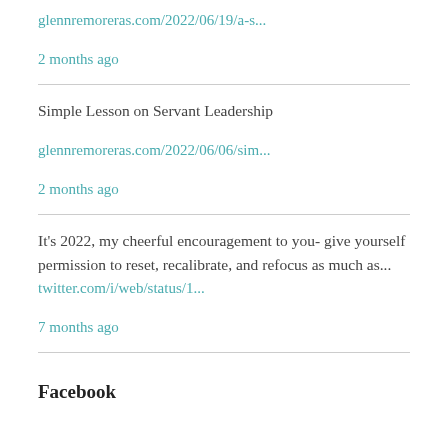glennremoreras.com/2022/06/19/a-s...
2 months ago
Simple Lesson on Servant Leadership
glennremoreras.com/2022/06/06/sim...
2 months ago
It’s 2022, my cheerful encouragement to you- give yourself permission to reset, recalibrate, and refocus as much as... twitter.com/i/web/status/1...
7 months ago
Facebook